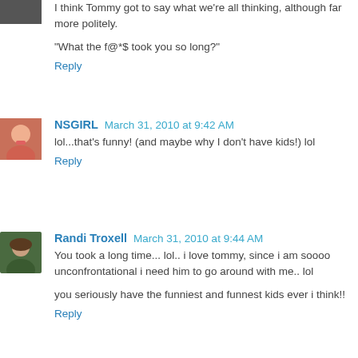I think Tommy got to say what we're all thinking, although far more politely.
"What the f@*$ took you so long?"
Reply
NSGIRL  March 31, 2010 at 9:42 AM
lol...that's funny! (and maybe why I don't have kids!) lol
Reply
Randi Troxell  March 31, 2010 at 9:44 AM
You took a long time... lol.. i love tommy, since i am soooo unconfrontational i need him to go around with me.. lol
you seriously have the funniest and funnest kids ever i think!!
Reply